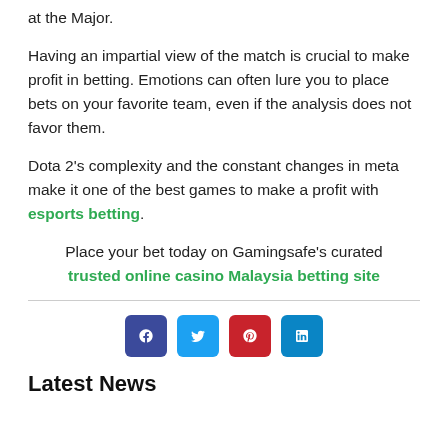at the Major.
Having an impartial view of the match is crucial to make profit in betting. Emotions can often lure you to place bets on your favorite team, even if the analysis does not favor them.
Dota 2’s complexity and the constant changes in meta make it one of the best games to make a profit with esports betting.
Place your bet today on Gamingsafe’s curated trusted online casino Malaysia betting site
Latest News